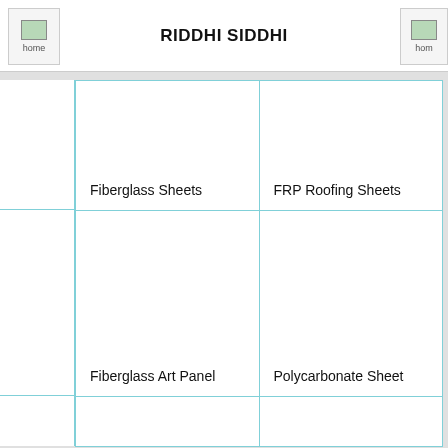RIDDHI SIDDHI
| Fiberglass Sheets | FRP Roofing Sheets |
| Fiberglass Art Panel | Polycarbonate Sheet |
|  |  |